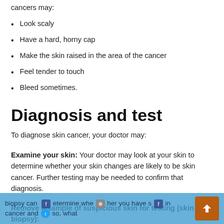cancers may:
Look scaly
Have a hard, horny cap
Make the skin raised in the area of the cancer
Feel tender to touch
Bleed sometimes.
Diagnosis and test
To diagnose skin cancer, your doctor may:
Examine your skin: Your doctor may look at your skin to determine whether your skin changes are likely to be skin cancer. Further testing may be needed to confirm that diagnosis.
Remove a sample of suspicious skin for testing (skin biopsy): Your doctor may remove the suspicious-looking skin for lab testing. A biopsy can determine whether you have skin cancer and if so, what type of skin cancer you have.